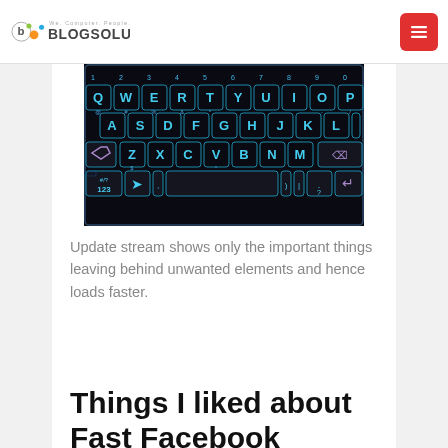Blogsolute — We. Computer. People.
[Figure (screenshot): A dark QWERTY smartphone keyboard with cyan/blue glowing key borders on a black background, showing number row, QWERTY row, ASDF row, ZXCV row, and bottom row with 123/emoji/space/punctuation keys.]
Update stream shows only the important things leaving behind unwanted elements and hence loads faster.
Things I liked about Fast Facebook